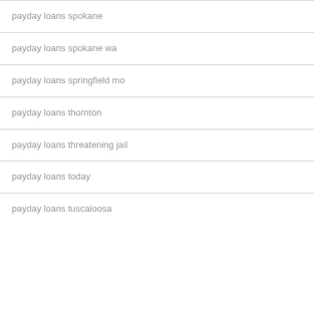payday loans spokane
payday loans spokane wa
payday loans springfield mo
payday loans thornton
payday loans threatening jail
payday loans today
payday loans tuscaloosa